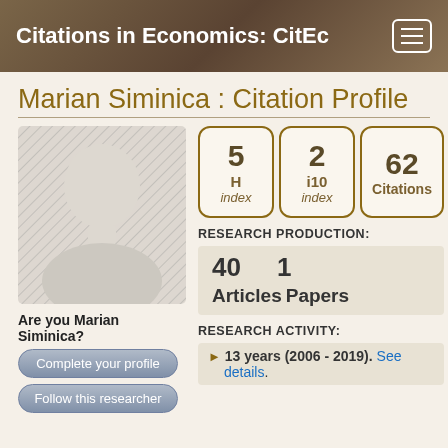Citations in Economics: CitEc
Marian Siminica : Citation Profile
[Figure (illustration): Default user avatar silhouette placeholder image with gray hatched background]
5 H index
2 i10 index
62 Citations
RESEARCH PRODUCTION:
40 Articles   1 Papers
Are you Marian Siminica?
Complete your profile
Follow this researcher
RESEARCH ACTIVITY:
13 years (2006 - 2019). See details.